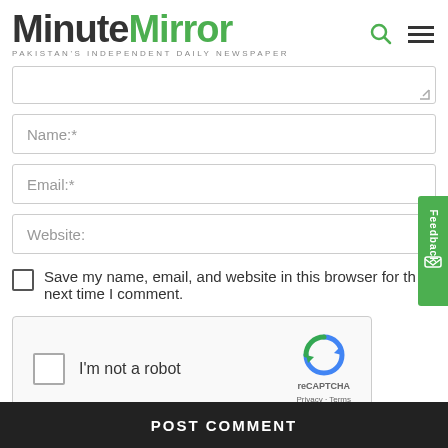MinuteMirror — PAKISTAN'S INDEPENDENT DAILY NEWSPAPER
Name:*
Email:*
Website:
Save my name, email, and website in this browser for the next time I comment.
[Figure (other): reCAPTCHA widget with checkbox labeled I'm not a robot]
POST COMMENT